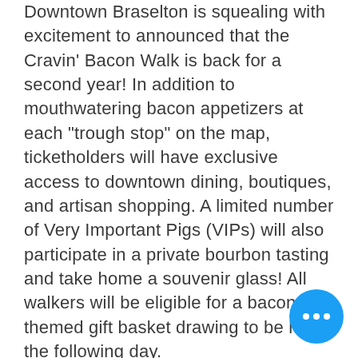Downtown Braselton is squealing with excitement to announced that the Cravin' Bacon Walk is back for a second year! In addition to mouthwatering bacon appetizers at each "trough stop" on the map, ticketholders will have exclusive access to downtown dining, boutiques, and artisan shopping. A limited number of Very Important Pigs (VIPs) will also participate in a private bourbon tasting and take home a souvenir glass! All walkers will be eligible for a bacon themed gift basket drawing to be held the following day.
Tickets go on sale HERE on Friday, Oct. 22. Get your tickets early, because people go hog wild for Downtown Braselton's wine, chocolate and bacon walks! Proceeds b... the Braselton Downtown Development Authority, which works to ensure the long-